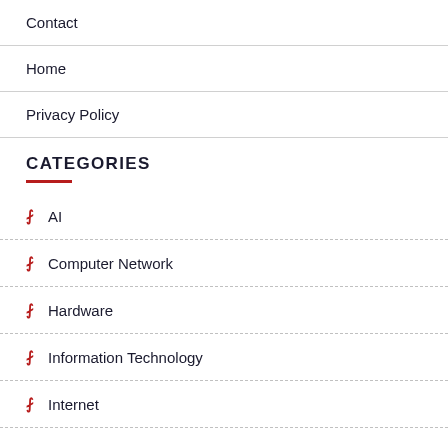Contact
Home
Privacy Policy
CATEGORIES
AI
Computer Network
Hardware
Information Technology
Internet